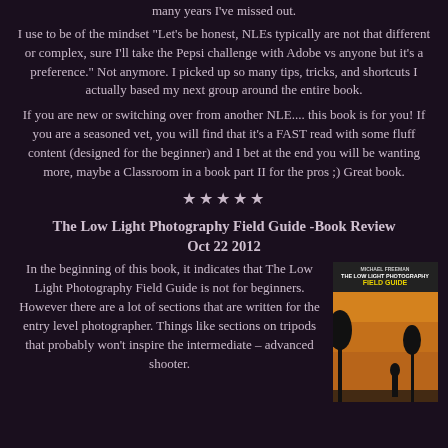many years I've missed out.
I use to be of the mindset “Let’s be honest, NLEs typically are not that different or complex, sure I’ll take the Pepsi challenge with Adobe vs anyone but it’s a preference.” Not anymore. I picked up so many tips, tricks, and shortcuts I actually based my next group around the entire book.
If you are new or switching over from another NLE.... this book is for you! If you are a seasoned vet, you will find that it’s a FAST read with some fluff content (designed for the beginner) and I bet at the end you will be wanting more, maybe a Classroom in a book part II for the pros ;) Great book.
★★★★★
The Low Light Photography Field Guide -Book Review Oct 22 2012
In the beginning of this book, it indicates that The Low Light Photography Field Guide is not for beginners. However there are a lot of sections that are written for the entry level photographer. Things like sections on tripods that probably won’t inspire the intermediate – advanced shooter.
[Figure (photo): Book cover of 'The Low Light Photography Field Guide' by Michael Freeman, showing a silhouette of a person against a warm sky background with trees.]